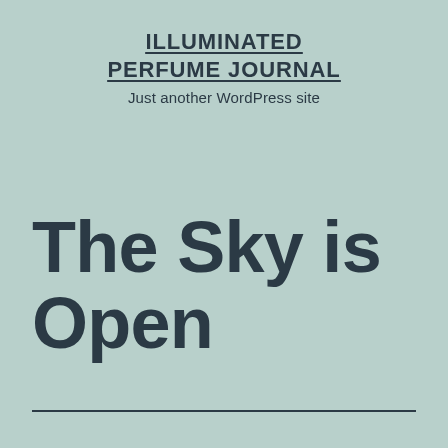ILLUMINATED PERFUME JOURNAL
Just another WordPress site
The Sky is Open